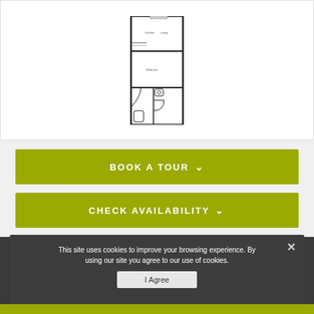[Figure (engineering-diagram): Apartment floor plan schematic showing layout with bedroom, bathroom, kitchen/living area]
BOOK A TOUR ∨
CHECK AVAILABILITY ∨
Floorplan images are for representative purposes only. Prices and floor/product and specific rooms may vary in dimension or detail. Not all features are available in every unit. Prices and availability are subject to change. Please contact a representative for details.
This site uses cookies to improve your browsing experience. By using our site you agree to our use of cookies.
I Agree